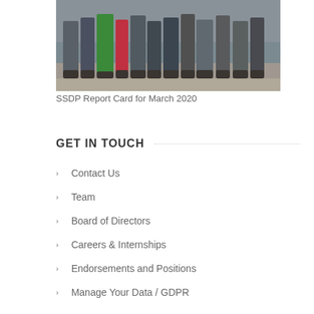[Figure (photo): Group photo showing lower bodies/legs of multiple people standing together outdoors on gravel]
SSDP Report Card for March 2020
GET IN TOUCH
Contact Us
Team
Board of Directors
Careers & Internships
Endorsements and Positions
Manage Your Data / GDPR